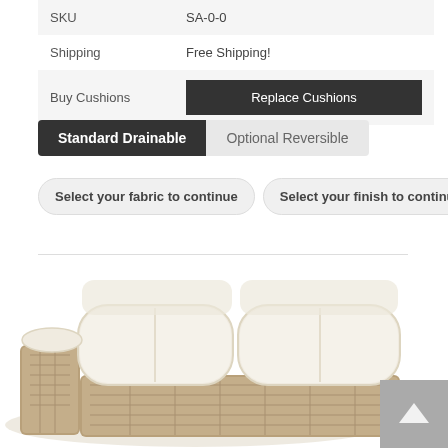| SKU | SA-0-0 |
| Shipping | Free Shipping! |
| Buy Cushions | Replace Cushions |
Standard Drainable | Optional Reversible
Select your fabric to continue   Select your finish to continue
[Figure (photo): Photo of an outdoor sofa/loveseat with cream/white cushions and wicker/rattan base, partially visible at bottom of page]